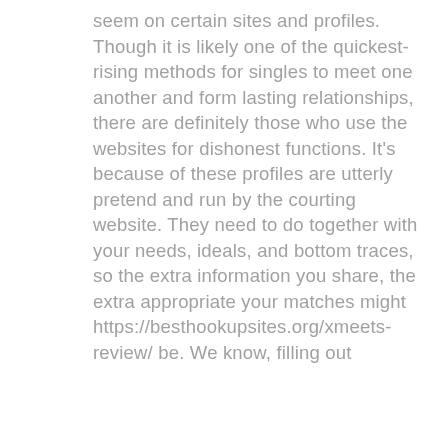seem on certain sites and profiles. Though it is likely one of the quickest-rising methods for singles to meet one another and form lasting relationships, there are definitely those who use the websites for dishonest functions. It's because of these profiles are utterly pretend and run by the courting website. They need to do together with your needs, ideals, and bottom traces, so the extra information you share, the extra appropriate your matches might https://besthookupsites.org/xmeets-review/ be. We know, filling out